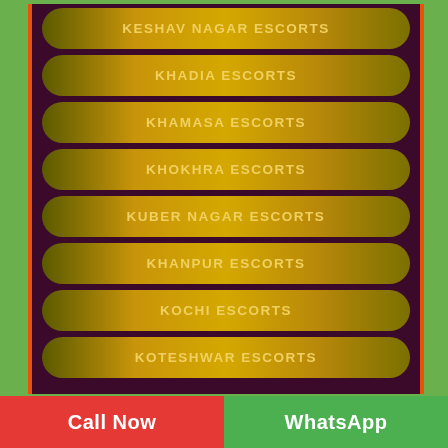KESHAV NAGAR ESCORTS
KHADIA ESCORTS
KHAMASA ESCORTS
KHOKHRA ESCORTS
KUBER NAGAR ESCORTS
KHANPUR ESCORTS
KOCHI ESCORTS
KOTESHWAR ESCORTS
Call Now | WhatsApp